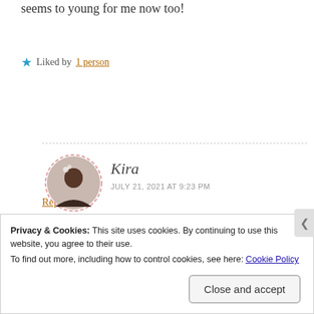seems to young for me now too!
Liked by 1 person
Reply
Kira
JULY 21, 2021 AT 9:23 PM
Yes!! I'm glad I'm not the only one that thinks this
Privacy & Cookies: This site uses cookies. By continuing to use this website, you agree to their use.
To find out more, including how to control cookies, see here: Cookie Policy
Close and accept